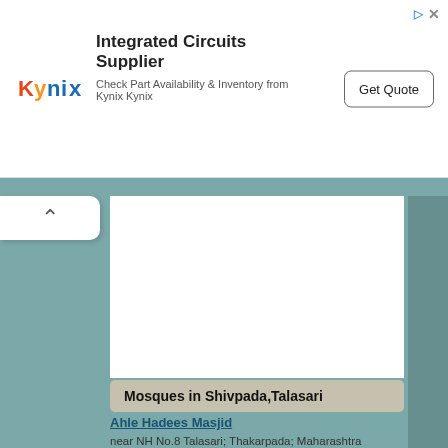[Figure (other): Kynix advertisement banner: Integrated Circuits Supplier, Check Part Availability & Inventory from Kynix Kynix, with Get Quote button]
[Figure (other): Map area showing Mosques in Shivpada, Talasari with teal/blue-grey background and white content panel]
Mosques in Shivpada,Talasari
Ahle Hadees Masjid
near NH No.8 Talasari; Thakarpada; Maharashtra 401606; India
4.1 KM distance    Detail